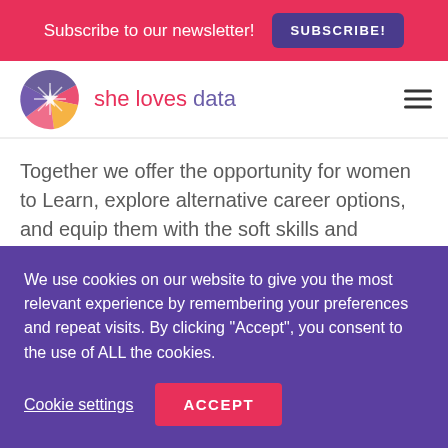Subscribe to our newsletter! SUBSCRIBE!
[Figure (logo): She Loves Data logo with colorful arc/star graphic and text 'she loves data']
develop behaviors and minimize clarity through areas, create awareness of alternative options, working through the change process
Together we offer the opportunity for women to Learn, explore alternative career options, and equip them with the soft skills and (community) support to help them on their journey of change.
We use cookies on our website to give you the most relevant experience by remembering your preferences and repeat visits. By clicking "Accept", you consent to the use of ALL the cookies.
Cookie settings ACCEPT